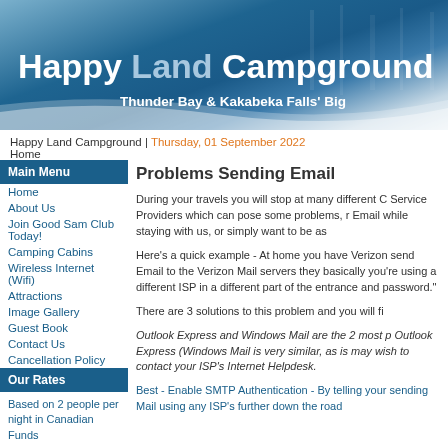[Figure (photo): Happy Land Campground website banner with blue gradient background and forest/trees imagery]
Happy Land Campground
Thunder Bay & Kakabeka Falls' Big
Happy Land Campground | Thursday, 01 September 2022
Home
Main Menu
Home
About Us
Join Good Sam Club Today!
Camping Cabins
Wireless Internet (Wifi)
Attractions
Image Gallery
Guest Book
Contact Us
Cancellation Policy
Our Rates
Based on 2 people per night in Canadian Funds
Basic Site: $43.00
Elec. Only(15 amp): $48.00
Problems Sending Email
During your travels you will stop at many different C Service Providers which can pose some problems, r Email while staying with us, or simply want to be as
Here's a quick example - At home you have Verizon send Email to the Verizon Mail servers they basically you're using a different ISP in a different part of the entrance and password."
There are 3 solutions to this problem and you will fi
Outlook Express and Windows Mail are the 2 most p Outlook Express (Windows Mail is very similar, as is may wish to contact your ISP's Internet Helpdesk.
Best - Enable SMTP Authentication - By telling your sending Mail using any ISP's further down the road